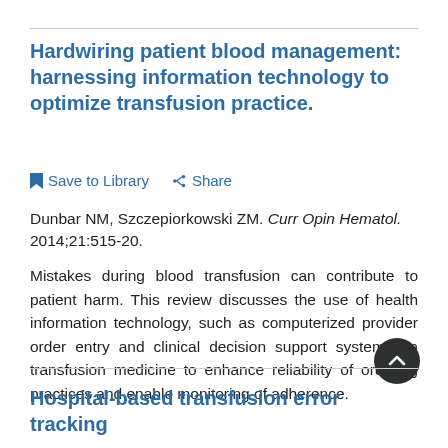Hardwiring patient blood management: harnessing information technology to optimize transfusion practice.
Save to Library   Share
Dunbar NM, Szczepiorkowski ZM. Curr Opin Hematol. 2014;21:515-20.
Mistakes during blood transfusion can contribute to patient harm. This review discusses the use of health information technology, such as computerized provider order entry and clinical decision support systems, in transfusion medicine to enhance reliability of ordering practices and enable monitoring of adherence.
Hospital-based transfusion error tracking